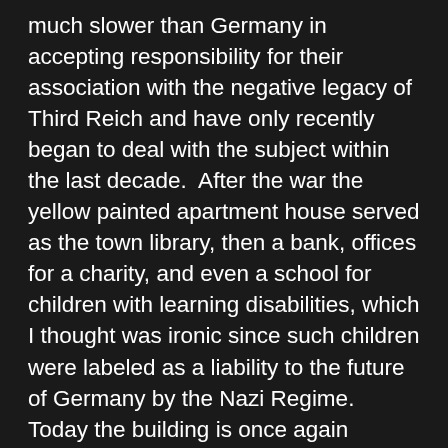much slower than Germany in accepting responsibility for their association with the negative legacy of Third Reich and have only recently began to deal with the subject within the last decade.  After the war the yellow painted apartment house served as the town library, then a bank, offices for a charity, and even a school for children with learning disabilities, which I thought was ironic since such children were labeled as a liability to the future of Germany by the Nazi Regime.  Today the building is once again vacant and debate continues on just what to do with the property.  An effort by the town council to place a plaque on the building in 1983 was challenged in court by the owner, who did not want to draw additional negative attention to the building.  The owner won the case and a plaque has never been placed on the building.  However, in 1989 the newly elected mayor decided the site must be marked and ordered a large stone monument be placed at the site.  The request avoided legal protest because it was placed between the street and sidewalk, which is land officially owned by the public.  As a nice historical touch, the memorial stone was cut from a quarry located within a former concentration camp near Linz, Austria, where prisoners had quarried stone as forced labor